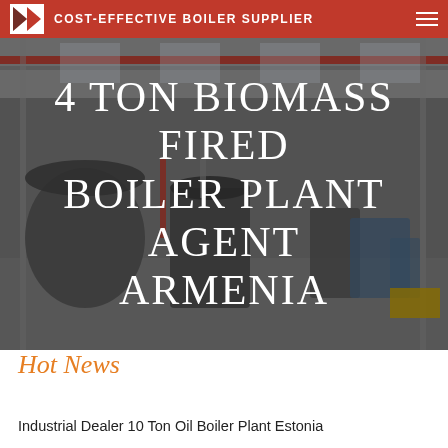COST-EFFECTIVE BOILER SUPPLIER
[Figure (photo): Industrial boiler factory interior with overhead crane, large cylindrical boilers, and manufacturing equipment]
4 TON BIOMASS FIRED BOILER PLANT AGENT ARMENIA
Hot News
Industrial Dealer 10 Ton Oil Boiler Plant Estonia